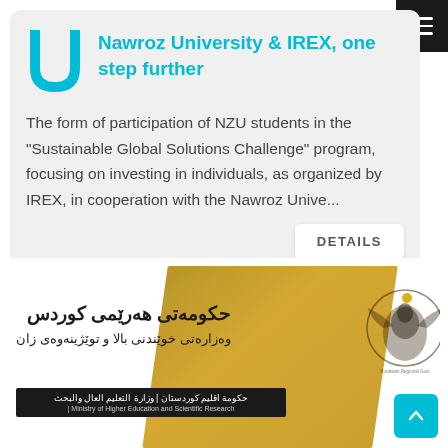[Figure (logo): Nawroz University shield logo in cyan/light blue]
Nawroz University & IREX, one step further
The form of participation of NZU students in the "Sustainable Global Solutions Challenge" program, focusing on investing in individuals, as organized by IREX, in cooperation with the Nawroz Unive...
DETAILS
[Figure (photo): Photo showing a gold-colored document or book cover with Kurdish government text and an emblem, including Kurdish and Arabic text reading 'حكومەتى هەرێمى كوردستان' (Kurdistan Regional Government) and 'وەزارەتى خوێندنى بالا و توێژینەوەى زان' along with Ministry of Higher Education and Scientific Research banner]